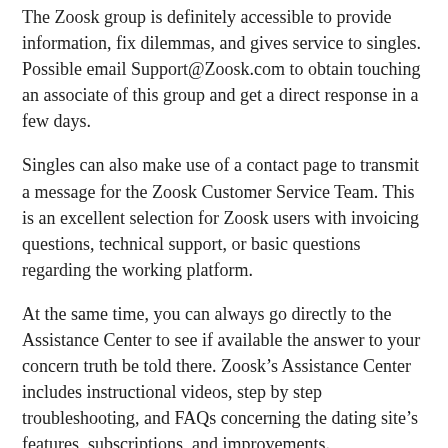The Zoosk group is definitely accessible to provide information, fix dilemmas, and gives service to singles. Possible email Support@Zoosk.com to obtain touching an associate of this group and get a direct response in a few days.
Singles can also make use of a contact page to transmit a message for the Zoosk Customer Service Team. This is an excellent selection for Zoosk users with invoicing questions, technical support, or basic questions regarding the working platform.
At the same time, you can always go directly to the Assistance Center to see if available the answer to your concern truth be told there. Zoosk’s Assistance Center includes instructional videos, step by step troubleshooting, and FAQs concerning the dating site’s features, subscriptions, and improvements.
No, you should not link the Zoosk profile to your Facebook profile if you don’t like to. Straightforward email or Google+ signup will serve. But if you’d like to accelerate the enrollment process, it may possibly be best if you use Twitter as a shortcut towards information that is personal and